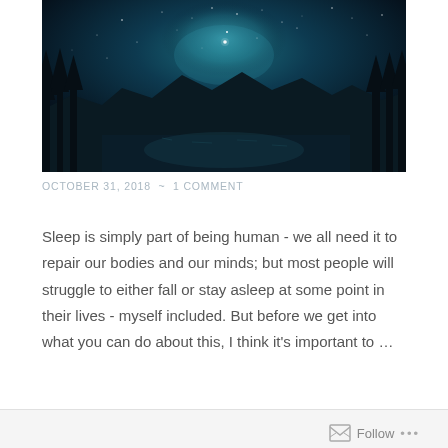[Figure (photo): Night sky photograph showing the Milky Way galaxy visible above a silhouette of trees and mountains, with a lake reflection at the bottom. Dark blue teal tones with stars and cosmic glow.]
OCTOBER 31, 2018  ~  1 COMMENT
Sleep is simply part of being human - we all need it to repair our bodies and our minds; but most people will struggle to either fall or stay asleep at some point in their lives - myself included. But before we get into what you can do about this, I think it's important to …
Continue reading
Follow ...